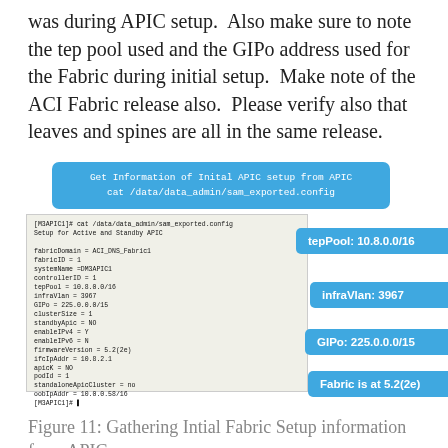was during APIC setup.  Also make sure to note the tep pool used and the GIPo address used for the Fabric during initial setup.  Make note of the ACI Fabric release also.  Please verify also that leaves and spines are all in the same release.
[Figure (infographic): Blue button showing command: 'Get Information of Initial APIC setup from APIC / cat /data/data_admin/sam_exported.config']
[Figure (screenshot): Terminal output from APIC showing sam_exported.config with callout annotations for tepPool: 10.8.0.0/16, infraVlan: 3967, GIPo: 225.0.0.0/15, Fabric is at 5.2(2e)]
Figure 11: Gathering Intial Fabric Setup information from APIC.